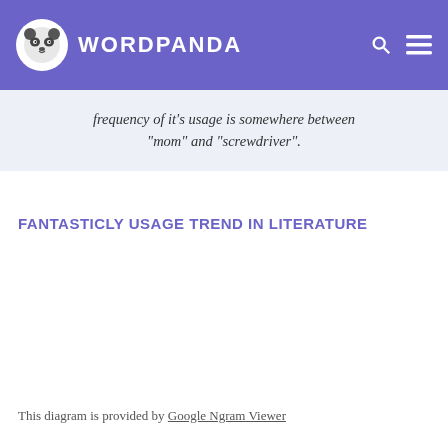WORDPANDA
frequency of it's usage is somewhere between "mom" and "screwdriver".
FANTASTICLY USAGE TREND IN LITERATURE
[Figure (other): Empty chart area for Google Ngram Viewer usage trend diagram]
This diagram is provided by Google Ngram Viewer